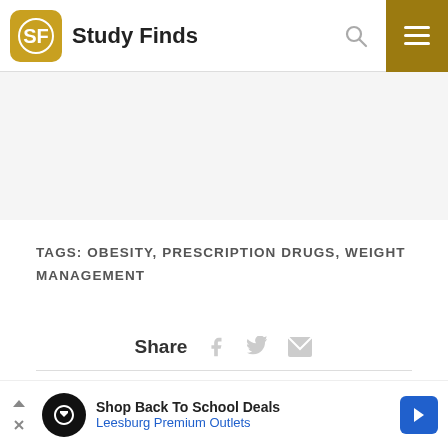Study Finds
TAGS: OBESITY, PRESCRIPTION DRUGS, WEIGHT MANAGEMENT
Share
Leave a Comment
1  0
[Figure (other): Advertisement banner: Shop Back To School Deals – Leesburg Premium Outlets]